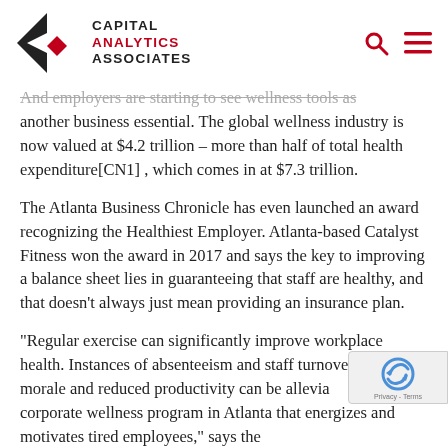CAPITAL ANALYTICS ASSOCIATES
And employers are starting to see wellness tools as another business essential. The global wellness industry is now valued at $4.2 trillion – more than half of total health expenditure[CN1] , which comes in at $7.3 trillion.
The Atlanta Business Chronicle has even launched an award recognizing the Healthiest Employer. Atlanta-based Catalyst Fitness won the award in 2017 and says the key to improving a balance sheet lies in guaranteeing that staff are healthy, and that doesn't always just mean providing an insurance plan.
“Regular exercise can significantly improve workplace health. Instances of absenteeism and staff turnover, low staff morale and reduced productivity can be alleviated with a corporate wellness program in Atlanta that energizes and motivates tired employees,” says the